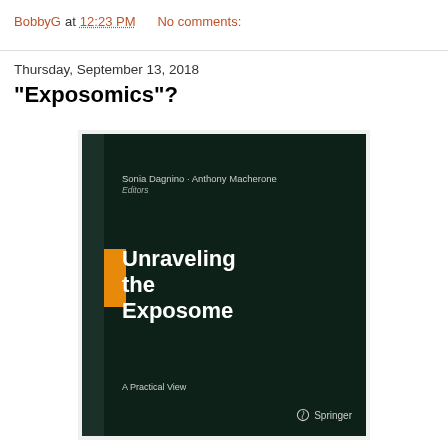BobbyG at 12:23 PM    No comments:
Thursday, September 13, 2018
"Exposomics"?
[Figure (photo): Book cover of 'Unraveling the Exposome: A Practical View' edited by Sonia Dagnino and Anthony Macherone, published by Springer. Dark green/black cover with an orange accent bar on the spine.]